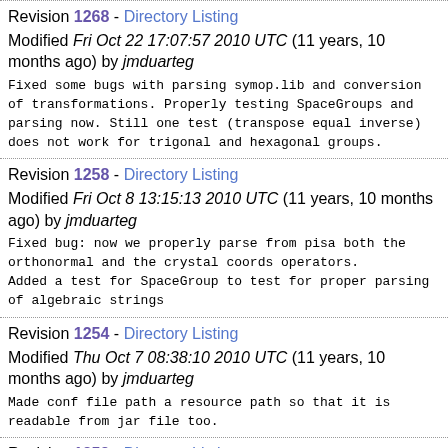Revision 1268 - Directory Listing
Modified Fri Oct 22 17:07:57 2010 UTC (11 years, 10 months ago) by jmduarteg
Fixed some bugs with parsing symop.lib and conversion of transformations. Properly testing SpaceGroups and parsing now. Still one test (transpose equal inverse) does not work for trigonal and hexagonal groups.
Revision 1258 - Directory Listing
Modified Fri Oct 8 13:15:13 2010 UTC (11 years, 10 months ago) by jmduarteg
Fixed bug: now we properly parse from pisa both the orthonormal and the crystal coords operators.
Added a test for SpaceGroup to test for proper parsing of algebraic strings
Revision 1254 - Directory Listing
Modified Thu Oct 7 08:38:10 2010 UTC (11 years, 10 months ago) by jmduarteg
Made conf file path a resource path so that it is readable from jar file too.
Revision 1252 - Directory Listing
Modified Wed Oct 6 14:22:03 2010 UTC (11 years, 10 months ago) by jmduarteg